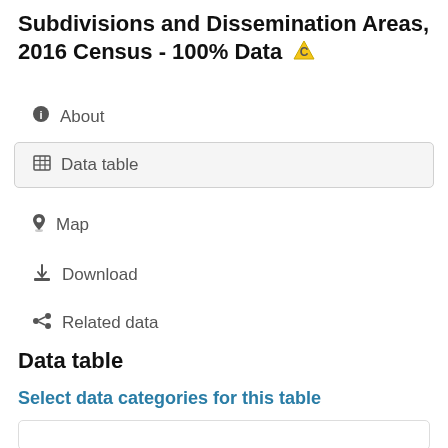Subdivisions and Dissemination Areas, 2016 Census - 100% Data ⚠
ℹ About
⊞ Data table
📍 Map
⬇ Download
◀ Related data
Data table
Select data categories for this table